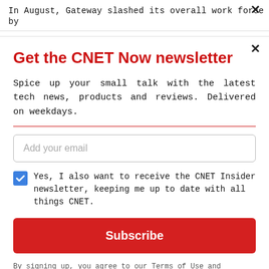In August, Gateway slashed its overall work force by
Get the CNET Now newsletter
Spice up your small talk with the latest tech news, products and reviews. Delivered on weekdays.
Add your email
Yes, I also want to receive the CNET Insider newsletter, keeping me up to date with all things CNET.
Subscribe
By signing up, you agree to our Terms of Use and acknowledge the data practices in our Privacy Policy. You may unsubscribe at any time.